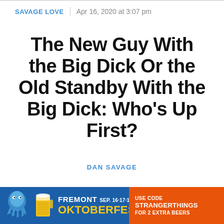SAVAGE LOVE | Apr 16, 2020 at 3:07 pm
The New Guy With the Big Dick Or the Old Standby With the Big Dick: Who's Up First?
DAN SAVAGE
↓ back to article
[Figure (infographic): Advertisement banner for Fremont Oktoberfest Sep. 16·17·18, with use code STRANGERTHINGS for 2 extra beers]